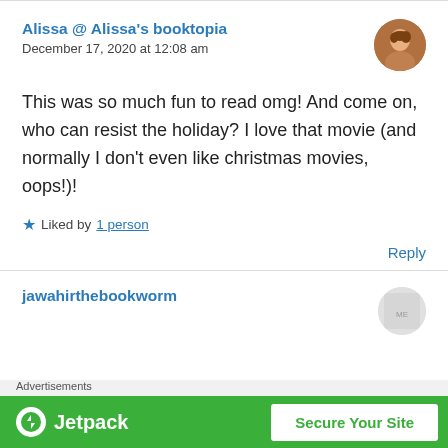Alissa @ Alissa's booktopia
December 17, 2020 at 12:08 am
This was so much fun to read omg! And come on, who can resist the holiday? I love that movie (and normally I don't even like christmas movies, oops!)!
Liked by 1 person
Reply
jawahirthebookworm
[Figure (infographic): Jetpack advertisement banner with green background, Jetpack logo, and 'Secure Your Site' button]
Advertisements